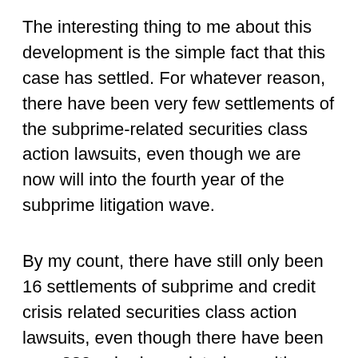The interesting thing to me about this development is the simple fact that this case has settled. For whatever reason, there have been very few settlements of the subprime-related securities class action lawsuits, even though we are now will into the fourth year of the subprime litigation wave.
By my count, there have still only been 16 settlements of subprime and credit crisis related securities class action lawsuits, even though there have been over 220 subprime related securities class action lawsuits filed since the beginning of the subprime litigation wave in early 2007 and even though scores of cases have survived the initial dismissal motion. I would be very curious to know if any readers out there have any suggestions on why so few of these cases have settled.